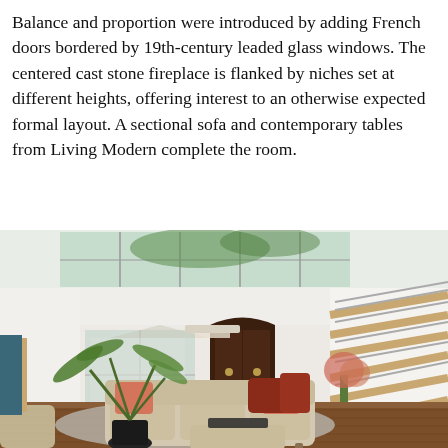Balance and proportion were introduced by adding French doors bordered by 19th-century leaded glass windows. The centered cast stone fireplace is flanked by niches set at different heights, offering interest to an otherwise expected formal layout. A sectional sofa and contemporary tables from Living Modern complete the room.
[Figure (photo): Interior photo of a modern living room with high ceilings, a sectional sofa with coral/orange pillows, a large potted palm plant, a dark wood armoire, a staircase with metal railings on the right, large windows/glass ceiling panels letting in natural light, hardwood floors, and a coffee table/ottoman.]